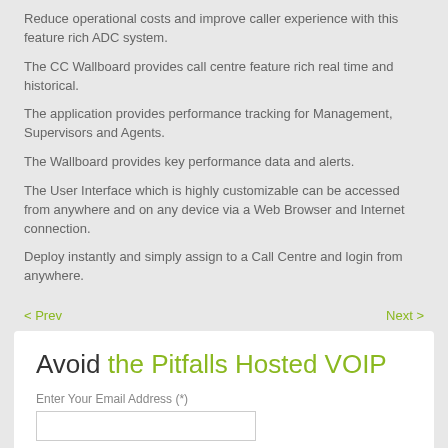Reduce operational costs and improve caller experience with this feature rich ADC system.
The CC Wallboard provides call centre feature rich real time and historical.
The application provides performance tracking for Management, Supervisors and Agents.
The Wallboard provides key performance data and alerts.
The User Interface which is highly customizable can be accessed from anywhere and on any device via a Web Browser and Internet connection.
Deploy instantly and simply assign to a Call Centre and login from anywhere.
< Prev
Next >
Avoid the Pitfalls Hosted VOIP
Enter Your Email Address (*)